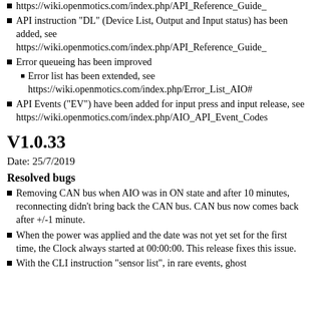https://wiki.openmotics.com/index.php/API_Reference_Guide_
API instruction "DL" (Device List, Output and Input status) has been added, see https://wiki.openmotics.com/index.php/API_Reference_Guide_
Error queueing has been improved
Error list has been extended, see https://wiki.openmotics.com/index.php/Error_List_AIO#
API Events ("EV") have been added for input press and input release, see https://wiki.openmotics.com/index.php/AIO_API_Event_Codes
V1.0.33
Date: 25/7/2019
Resolved bugs
Removing CAN bus when AIO was in ON state and after 10 minutes, reconnecting didn't bring back the CAN bus. CAN bus now comes back after +/-1 minute.
When the power was applied and the date was not yet set for the first time, the Clock always started at 00:00:00. This release fixes this issue.
With the CLI instruction "sensor list", in rare events, ghost